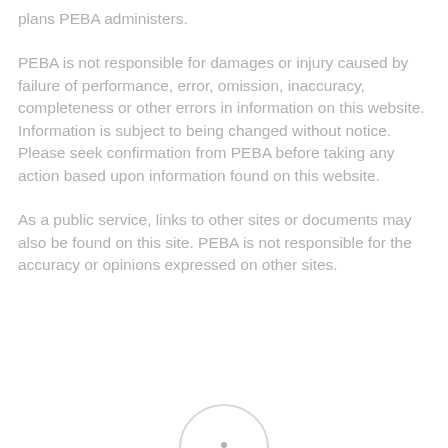plans PEBA administers.
PEBA is not responsible for damages or injury caused by failure of performance, error, omission, inaccuracy, completeness or other errors in information on this website. Information is subject to being changed without notice. Please seek confirmation from PEBA before taking any action based upon information found on this website.
As a public service, links to other sites or documents may also be found on this site. PEBA is not responsible for the accuracy or opinions expressed on other sites.
[Figure (logo): Partial circular logo visible at the bottom center of the page]